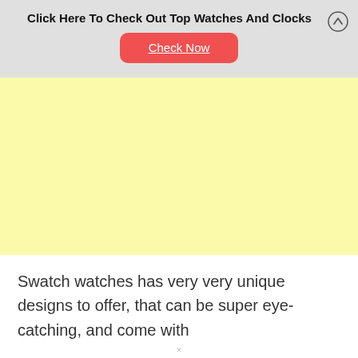Click Here To Check Out Top Watches And Clocks
Check Now
[Figure (other): Large yellow advertisement block placeholder]
Swatch watches has very very unique designs to offer, that can be super eye-catching, and come with